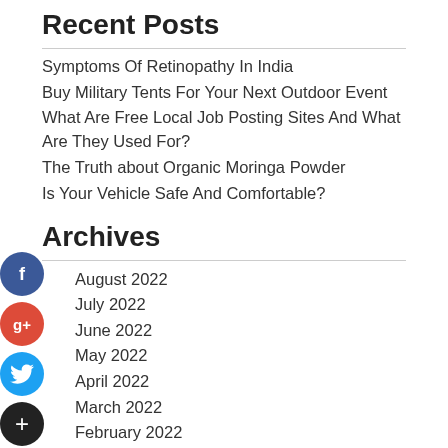Recent Posts
Symptoms Of Retinopathy In India
Buy Military Tents For Your Next Outdoor Event
What Are Free Local Job Posting Sites And What Are They Used For?
The Truth about Organic Moringa Powder
Is Your Vehicle Safe And Comfortable?
Archives
August 2022
July 2022
June 2022
May 2022
April 2022
March 2022
February 2022
January 2022